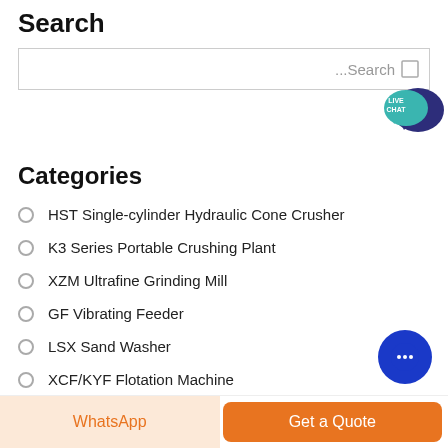Search
[Figure (other): Search input box with placeholder text '...Search' and a search icon]
[Figure (other): Live Chat speech bubble icon in teal with dark blue background bubble]
Categories
HST Single-cylinder Hydraulic Cone Crusher
K3 Series Portable Crushing Plant
XZM Ultrafine Grinding Mill
GF Vibrating Feeder
LSX Sand Washer
XCF/KYF Flotation Machine
[Figure (other): Blue circular chat button with three dots]
WhatsApp
Get a Quote